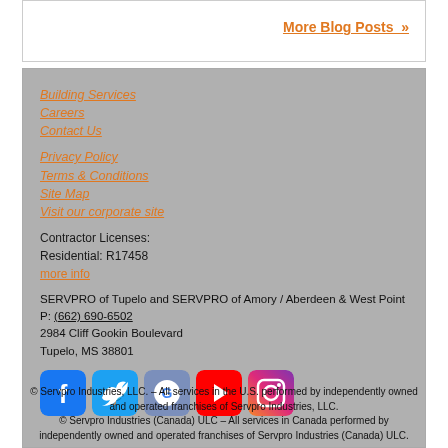More Blog Posts »
Building Services
Careers
Contact Us
Privacy Policy
Terms & Conditions
Site Map
Visit our corporate site
Contractor Licenses:
Residential: R17458
more info
SERVPRO of Tupelo and SERVPRO of Amory / Aberdeen & West Point
P: (662) 690-6502
2984 Cliff Gookin Boulevard
Tupelo, MS 38801
[Figure (other): Social media icons: Facebook, Twitter, Google, YouTube, Instagram]
© Servpro Industries, LLC. – All services in the U.S. performed by independently owned and operated franchises of Servpro Industries, LLC.
© Servpro Industries (Canada) ULC – All services in Canada performed by independently owned and operated franchises of Servpro Industries (Canada) ULC.